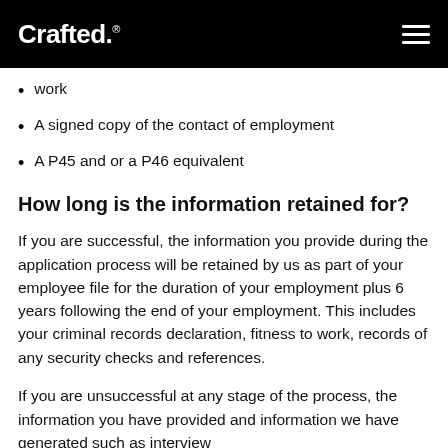Crafted.
work
A signed copy of the contact of employment
A P45 and or a P46 equivalent
How long is the information retained for?
If you are successful, the information you provide during the application process will be retained by us as part of your employee file for the duration of your employment plus 6 years following the end of your employment. This includes your criminal records declaration, fitness to work, records of any security checks and references.
If you are unsuccessful at any stage of the process, the information you have provided and information we have generated such as interview